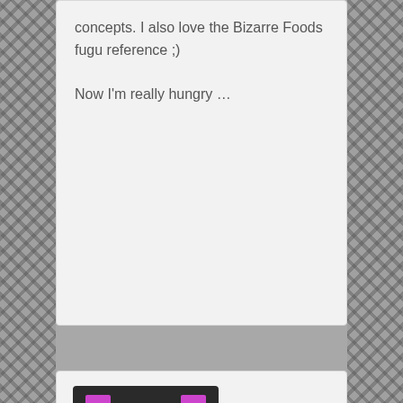concepts. I also love the Bizarre Foods fugu reference ;)

Now I'm really hungry …
[Figure (illustration): Pixel-art avatar icon: dark background with purple robot/gaming console shape]
Nebel on February 6, 2008 at 3:48 pm said:
I think the 'church of pork' tat is crappier than the McDo though :) The sushi boat is cool though, but I wonder what the idea behind it was?